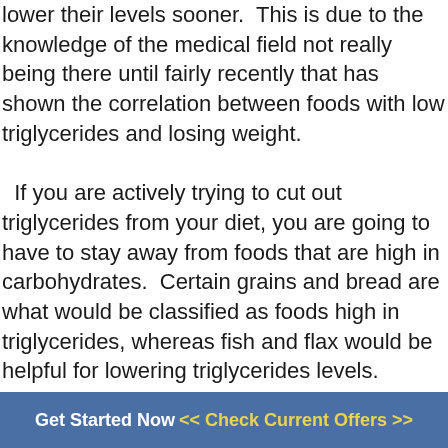lower their levels sooner.  This is due to the knowledge of the medical field not really being there until fairly recently that has shown the correlation between foods with low triglycerides and losing weight.

  If you are actively trying to cut out triglycerides from your diet, you are going to have to stay away from foods that are high in carbohydrates.  Certain grains and bread are what would be classified as foods high in triglycerides, whereas fish and flax would be helpful for lowering triglycerides levels.  Exercise also helps to lower triglyceride levels by burning up the fat and calories that have been accumulating that are responsible for the triglycerides in the first place.  This
Get Started Now  << Check Current Offers >>